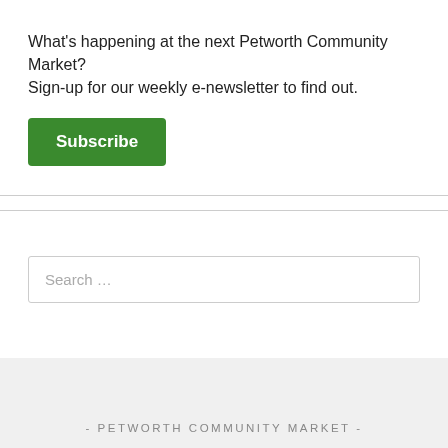What's happening at the next Petworth Community Market? Sign-up for our weekly e-newsletter to find out.
Subscribe
Search …
- PETWORTH COMMUNITY MARKET -